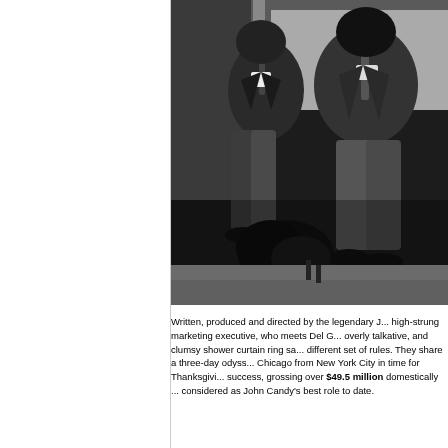[Figure (photo): Black and white photograph of two men in suits sitting on steps or a curb, with a duffel bag on the ground in front of them. One man is on the left, the other on the right. Classic film still style image.]
Written, produced and directed by the legendary J... high-strung marketing executive, who meets Del G... overly talkative, and clumsy shower curtain ring sa... different set of rules. They share a three-day odyss... Chicago from New York City in time for Thanksgivi... success, grossing over $49.5 million domestically ... considered as John Candy's best role to date.